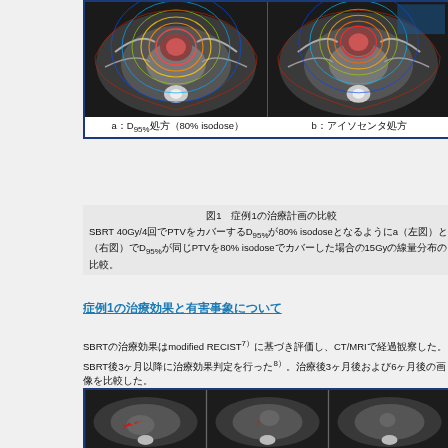[Figure (photo): Two CT scan images with radiation dose contour overlays. Left image (a) shows D95% prescription with 80% isodose. Right image (b) shows isocenter prescription. Colored concentric contour lines overlaid on CT cross-sections.]
図1　症例1の治療計画の比較
SBRT 40Gy/4回でPTVをカバーするD95%が80% isodoseとなるようにa（左図）とb（右図）でD95%が同じPTVを80% isodoseでカバーした場合の比較。15Gyの線量分布の比較。
症例1の治療効果と有害事象について
SBRTの治療効果はmodified RECIST7）に基づき評価し、CT/MRIで経過観察した。
SBRT後3ヶ月以降に治療効果判定を行った8）。治療後3ヶ月後および6ヶ月後の画像を比較した。
[Figure (photo): Three CT scan images showing follow-up after SBRT treatment, with red arrows indicating the tumor/lesion location in each image.]